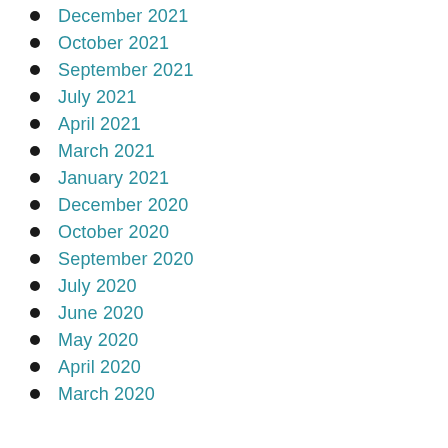December 2021
October 2021
September 2021
July 2021
April 2021
March 2021
January 2021
December 2020
October 2020
September 2020
July 2020
June 2020
May 2020
April 2020
March 2020